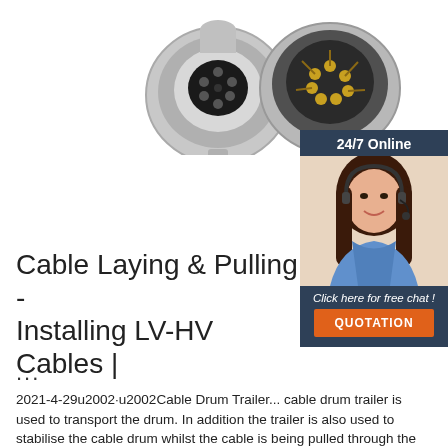[Figure (photo): Two circular electrical connectors (7-pin trailer connectors), one face-up showing pin layout, one tilted open showing internal wiring with gold pins, on white background]
[Figure (photo): Customer support agent (woman with dark hair wearing headset and blue shirt) with 24/7 Online label, click here for free chat text, and orange QUOTATION button, on dark blue background sidebar]
Cable Laying & Pulling - Installing LV-HV Cables |
...
2021-4-29u2002·u2002Cable Drum Trailer... cable drum trailer is used to transport the drum. In addition the trailer is also used to stabilise the cable drum whilst the cable is being pulled through the trench. Duct rods provide a strong, lightweight, labour saving solution for installing cables into ducts or pipes with or without draw ropes.